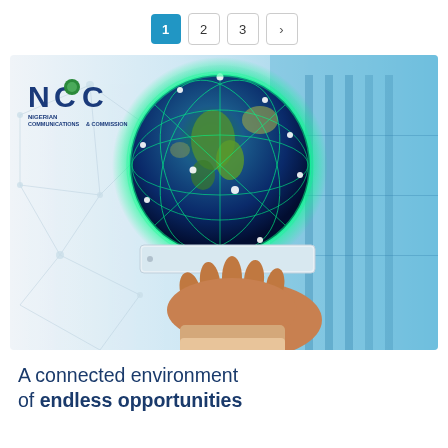1 2 3 >
[Figure (illustration): NCC (Nigerian Communications Commission) cover page illustration showing a glowing digital globe with green network connections held up by a hand on a tablet, with blue tech background and network node pattern on left]
A connected environment of endless opportunities